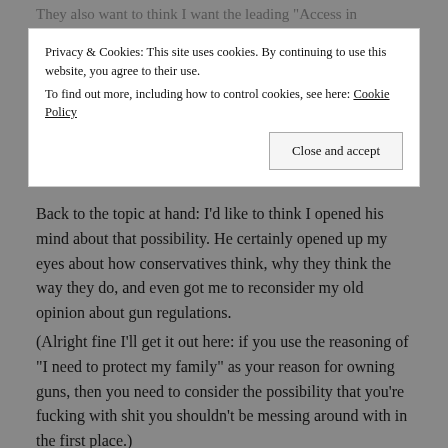Privacy & Cookies: This site uses cookies. By continuing to use this website, you agree to their use. To find out more, including how to control cookies, see here: Cookie Policy
Back to the topic at hand: I'd like to think I opened his mind about that possibility. He certainly opened up my eyes about how conservatives think, why they think the way they do, and even got me to reconsider my old opinion about gun regulations.
(Alright fine I'll get it out here: if you use the reasoning of "I need to protect my family" as your reason for owning guns, then you need to consider the possibility that you're fucking with shit you shouldn't be messing around with in the first place.)